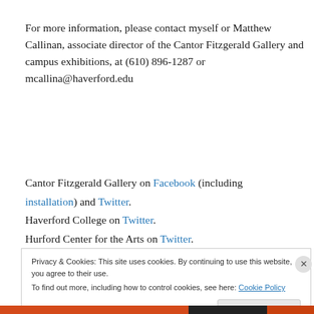For more information, please contact myself or Matthew Callinan, associate director of the Cantor Fitzgerald Gallery and campus exhibitions, at (610) 896-1287 or mcallina@haverford.edu
Cantor Fitzgerald Gallery on Facebook (including installation) and Twitter.
Haverford College on Twitter.
Hurford Center for the Arts on Twitter.
Privacy & Cookies: This site uses cookies. By continuing to use this website, you agree to their use.
To find out more, including how to control cookies, see here: Cookie Policy
Close and accept